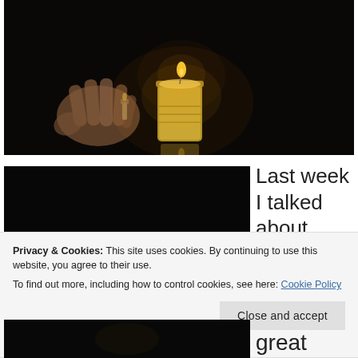[Figure (photo): Dark photograph of a hand holding a lighter next to a lit candle in a glass jar, set against a very dark background]
[Figure (photo): Dark photograph, nearly black, partial view of a scene]
Last week I talked about
Privacy & Cookies: This site uses cookies. By continuing to use this website, you agree to their use.
To find out more, including how to control cookies, see here: Cookie Policy
Close and accept
[Figure (photo): Dark strip photo at bottom]
great